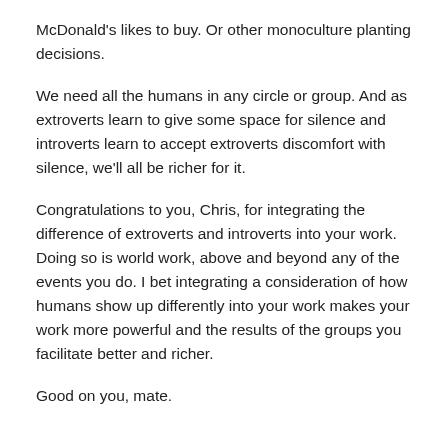McDonald's likes to buy. Or other monoculture planting decisions.
We need all the humans in any circle or group. And as extroverts learn to give some space for silence and introverts learn to accept extroverts discomfort with silence, we'll all be richer for it.
Congratulations to you, Chris, for integrating the difference of extroverts and introverts into your work. Doing so is world work, above and beyond any of the events you do. I bet integrating a consideration of how humans show up differently into your work makes your work more powerful and the results of the groups you facilitate better and richer.
Good on you, mate.